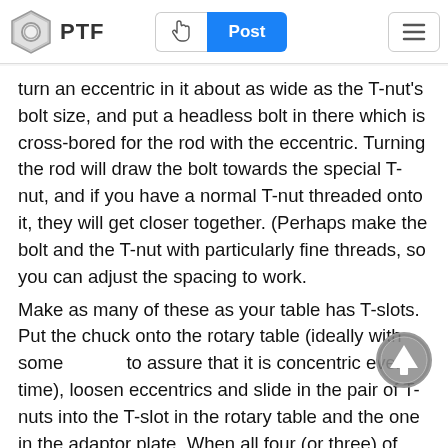PTF | Post
turn an eccentric in it about as wide as the T-nut's bolt size, and put a headless bolt in there which is cross-bored for the rod with the eccentric. Turning the rod will draw the bolt towards the special T-nut, and if you have a normal T-nut threaded onto it, they will get closer together. (Perhaps make the bolt and the T-nut with particularly fine threads, so you can adjust the spacing to work.
Make as many of these as your table has T-slots. Put the chuck onto the rotary table (ideally with some to assure that it is concentric every time), loosen eccentrics and slide in the pair of T-nuts into the T-slot in the rotary table and the one in the adaptor plate. When all four (or three) of them are installed, reach in with a wrench and turn each eccentric to lock it in